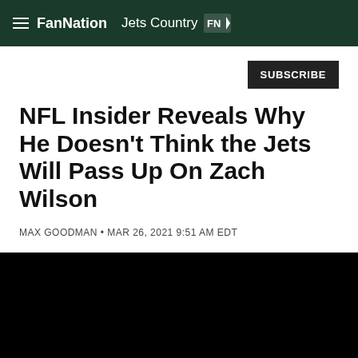FanNation Jets Country
NFL Insider Reveals Why He Doesn't Think the Jets Will Pass Up On Zach Wilson
MAX GOODMAN • MAR 26, 2021 9:51 AM EDT
[Figure (photo): Dark/black image area, likely a photo of a football player or stadium, not fully visible]